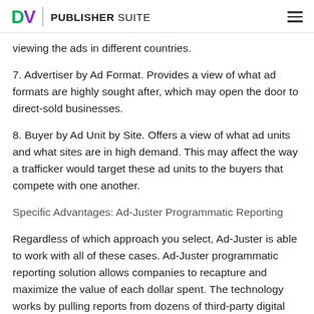DV PUBLISHER SUITE
viewing the ads in different countries.
7. Advertiser by Ad Format. Provides a view of what ad formats are highly sought after, which may open the door to direct-sold businesses.
8. Buyer by Ad Unit by Site. Offers a view of what ad units and what sites are in high demand. This may affect the way a trafficker would target these ad units to the buyers that compete with one another.
Specific Advantages: Ad-Juster Programmatic Reporting
Regardless of which approach you select, Ad-Juster is able to work with all of these cases. Ad-Juster programmatic reporting solution allows companies to recapture and maximize the value of each dollar spent. The technology works by pulling reports from dozens of third-party digital